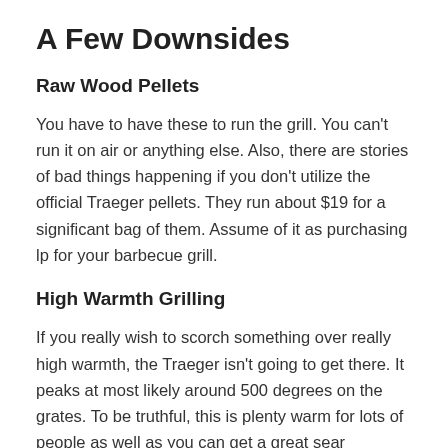A Few Downsides
Raw Wood Pellets
You have to have these to run the grill. You can't run it on air or anything else. Also, there are stories of bad things happening if you don't utilize the official Traeger pellets. They run about $19 for a significant bag of them. Assume of it as purchasing lp for your barbecue grill.
High Warmth Grilling
If you really wish to scorch something over really high warmth, the Traeger isn't going to get there. It peaks at most likely around 500 degrees on the grates. To be truthful, this is plenty warm for lots of people as well as you can get a great sear